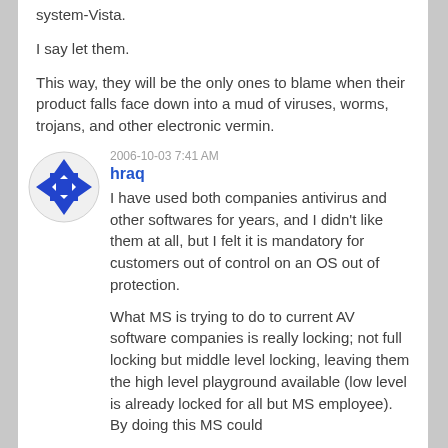system-Vista.
I say let them.
This way, they will be the only ones to blame when their product falls face down into a mud of viruses, worms, trojans, and other electronic vermin.
2006-10-03 7:41 AM
hraq
[Figure (illustration): User avatar icon: blue geometric diamond/square shape with a square center and triangular corners forming a compass-rose pattern, inside a light circular background.]
I have used both companies antivirus and other softwares for years, and I didn't like them at all, but I felt it is mandatory for customers out of control on an OS out of protection.
What MS is trying to do to current AV software companies is really locking; not full locking but middle level locking, leaving them the high level playground available (low level is already locked for all but MS employee). By doing this MS could